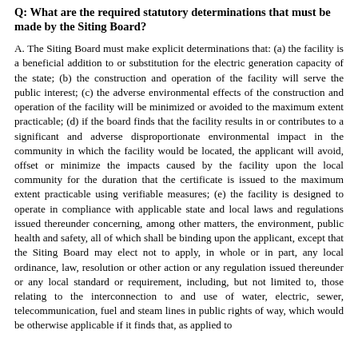Q: What are the required statutory determinations that must be made by the Siting Board?
A. The Siting Board must make explicit determinations that: (a) the facility is a beneficial addition to or substitution for the electric generation capacity of the state; (b) the construction and operation of the facility will serve the public interest; (c) the adverse environmental effects of the construction and operation of the facility will be minimized or avoided to the maximum extent practicable; (d) if the board finds that the facility results in or contributes to a significant and adverse disproportionate environmental impact in the community in which the facility would be located, the applicant will avoid, offset or minimize the impacts caused by the facility upon the local community for the duration that the certificate is issued to the maximum extent practicable using verifiable measures; (e) the facility is designed to operate in compliance with applicable state and local laws and regulations issued thereunder concerning, among other matters, the environment, public health and safety, all of which shall be binding upon the applicant, except that the Siting Board may elect not to apply, in whole or in part, any local ordinance, law, resolution or other action or any regulation issued thereunder or any local standard or requirement, including, but not limited to, those relating to the interconnection to and use of water, electric, sewer, telecommunication, fuel and steam lines in public rights of way, which would be otherwise applicable if it finds that, as applied to